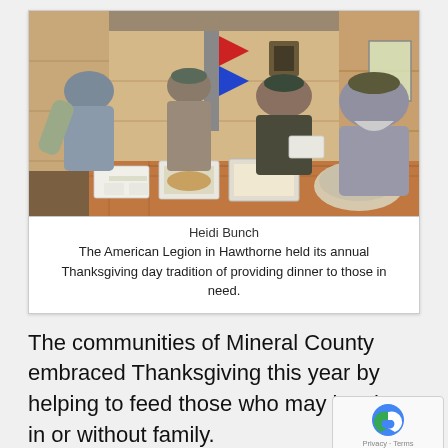[Figure (photo): People standing behind a table at the American Legion in Hawthorne, preparing Thanksgiving dinner. Styrofoam to-go containers and food items are visible on the table. American flags and wooden-paneled walls in the background.]
Heidi Bunch
The American Legion in Hawthorne held its annual Thanksgiving day tradition of providing dinner to those in need.
The communities of Mineral County embraced Thanksgiving this year by helping to feed those who may be shut in or without family.
Thanksgiving this year, held a different meaning for